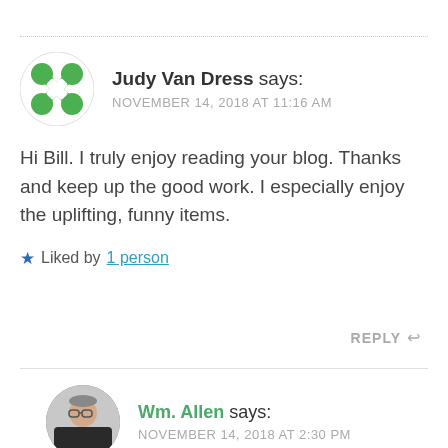[Figure (illustration): Green cross/X-shaped avatar icon for Judy Van Dress]
Judy Van Dress says:
NOVEMBER 14, 2018 AT 11:16 AM
Hi Bill. I truly enjoy reading your blog. Thanks and keep up the good work. I especially enjoy the uplifting, funny items.
★ Liked by 1 person
REPLY ↩
[Figure (photo): Circular avatar photo of Wm. Allen, a person in dark clothing]
Wm. Allen says:
NOVEMBER 14, 2018 AT 2:30 PM